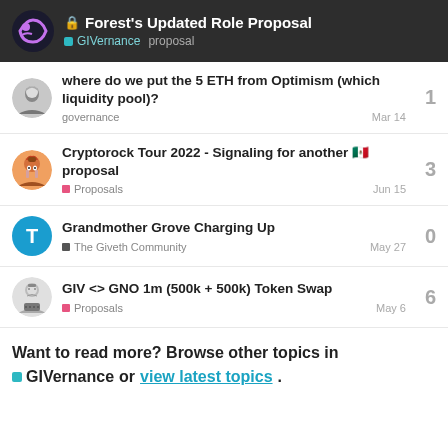Forest's Updated Role Proposal — GIVernance proposal
where do we put the 5 ETH from Optimism (which liquidity pool)? — governance — Mar 14 — 1 reply
Cryptorock Tour 2022 - Signaling for another 🇲🇽 proposal — Proposals — Jun 15 — 3 replies
Grandmother Grove Charging Up — The Giveth Community — May 27 — 0 replies
GIV <> GNO 1m (500k + 500k) Token Swap — Proposals — May 6 — 6 replies
Want to read more? Browse other topics in GIVernance or view latest topics.